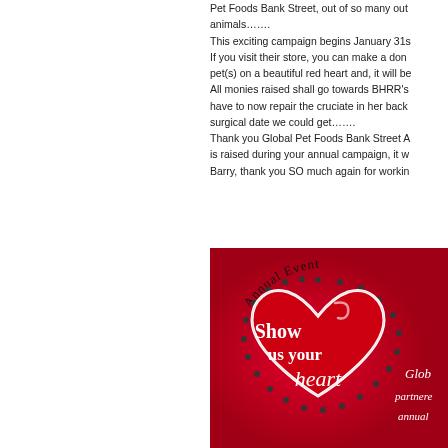Pet Foods Bank Street, out of so many out animals……. This exciting campaign begins January 31s If you visit their store, you can make a don pet(s) on a beautiful red heart and, it will be All monies raised shall go towards BHRR's have to now repair the cruciate in her back surgical date we could get……. Thank you Global Pet Foods Bank Street A is raised during your annual campaign, it w Barry, thank you SO much again for workin
[Figure (illustration): Annual Event promotional image with red background showing a large red heart shape with dotted border and text 'Show us your heart' in white and script font. Also shows 'Annual Event' text along top arc, and partial text 'Glob partnere annual' on right side.]